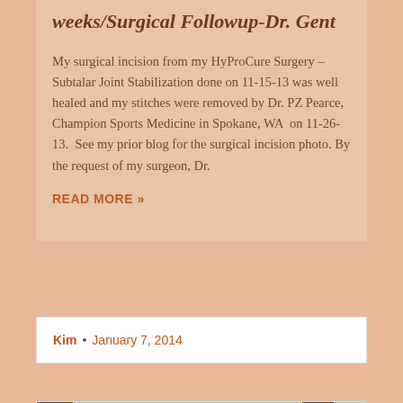weeks/Surgical Followup-Dr. Gent
My surgical incision from my HyProCure Surgery – Subtalar Joint Stabilization done on 11-15-13 was well healed and my stitches were removed by Dr. PZ Pearce, Champion Sports Medicine in Spokane, WA  on 11-26-13.  See my prior blog for the surgical incision photo. By the request of my surgeon, Dr.
READ MORE »
Kim • January 7, 2014
[Figure (photo): Outdoor photo showing trees against a blue sky with a person visible in the middle distance]